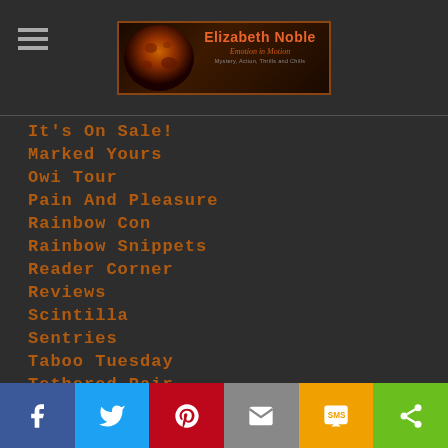Elizabeth Noble — Emotion in Motion — Mystery, Action, Thrills and Chills
It's On Sale!
Marked Yours
Owi Tour
Pain And Pleasure
Rainbow Con
Rainbow Snippets
Reader Corner
Reviews
Scintilla
Sentries
Taboo Tuesday
Tethered Pair
The Sleepless City
The Vampire Guard
Todd & Nick Ruger
Share bar: Facebook, Twitter, Pinterest, Email, SMS, Share